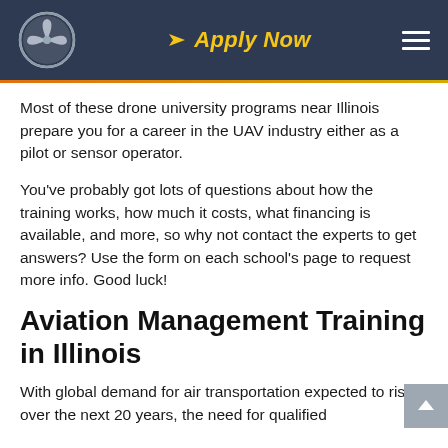Apply Now
Most of these drone university programs near Illinois prepare you for a career in the UAV industry either as a pilot or sensor operator.
You've probably got lots of questions about how the training works, how much it costs, what financing is available, and more, so why not contact the experts to get answers? Use the form on each school's page to request more info. Good luck!
Aviation Management Training in Illinois
With global demand for air transportation expected to rise over the next 20 years, the need for qualified